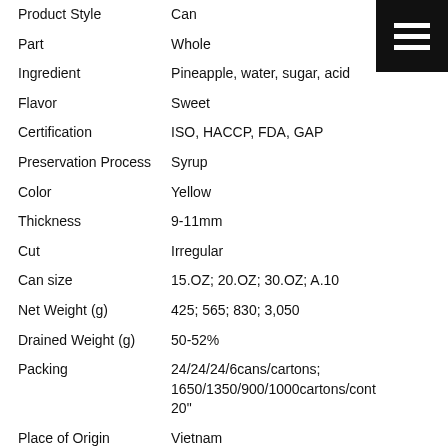| Product Style | Can |
| Part | Whole |
| Ingredient | Pineapple, water, sugar, acid |
| Flavor | Sweet |
| Certification | ISO, HACCP, FDA, GAP |
| Preservation Process | Syrup |
| Color | Yellow |
| Thickness | 9-11mm |
| Cut | Irregular |
| Can size | 15.OZ; 20.OZ; 30.OZ; A.10 |
| Net Weight (g) | 425; 565; 830; 3,050 |
| Drained Weight (g) | 50-52% |
| Packing | 24/24/24/6cans/cartons; 1650/1350/900/1000cartons/cont 20" |
| Place of Origin | Vietnam |
SPECIFICATIONS
| Acidity | 0.20-0.50%  (as citric acid) |